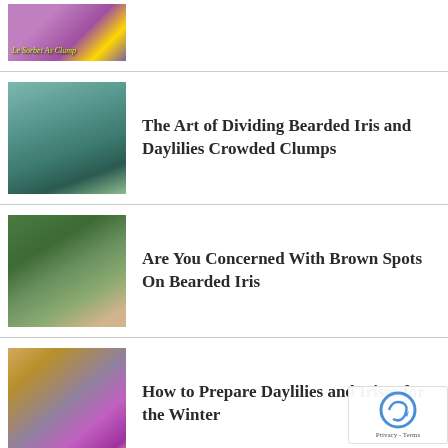[Figure (photo): Partial view of a purple iris flower with yellow center, top of page]
The Art of Dividing Bearded Iris and Daylilies Crowded Clumps
Are You Concerned With Brown Spots On Bearded Iris
How to Prepare Daylilies and Irises for the Winter
Daylily Best Weed Control Tips for Controlling Daylily Weeds in...